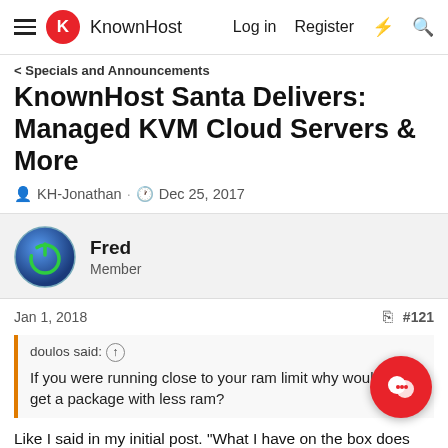KnownHost — Log in  Register
Specials and Announcements
KnownHost Santa Delivers: Managed KVM Cloud Servers & More
KH-Jonathan · Dec 25, 2017
Fred
Member
Jan 1, 2018  #121
doulos said: ↑
If you were running close to your ram limit why would you get a package with less ram?
Like I said in my initial post. "What I have on the box does not justify the price difference between VPS2